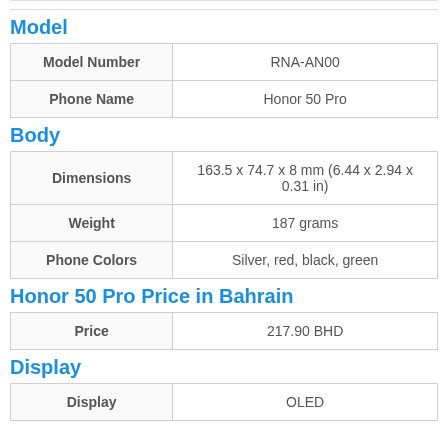Model
|  |  |
| --- | --- |
| Model Number | RNA-AN00 |
| Phone Name | Honor 50 Pro |
Body
|  |  |
| --- | --- |
| Dimensions | 163.5 x 74.7 x 8 mm (6.44 x 2.94 x 0.31 in) |
| Weight | 187 grams |
| Phone Colors | Silver, red, black, green |
Honor 50 Pro Price in Bahrain
|  |  |
| --- | --- |
| Price | 217.90 BHD |
Display
|  |  |
| --- | --- |
| Display | OLED |